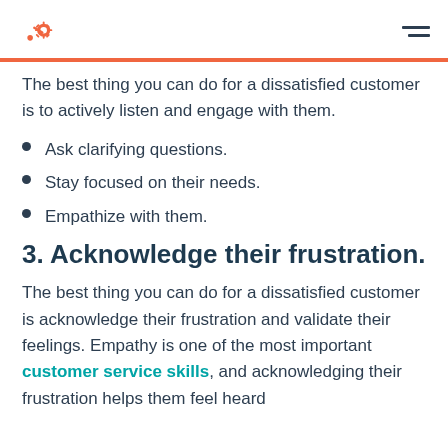HubSpot logo and hamburger menu
The best thing you can do for a dissatisfied customer is to actively listen and engage with them.
Ask clarifying questions.
Stay focused on their needs.
Empathize with them.
3. Acknowledge their frustration.
The best thing you can do for a dissatisfied customer is acknowledge their frustration and validate their feelings. Empathy is one of the most important customer service skills, and acknowledging their frustration helps them feel heard